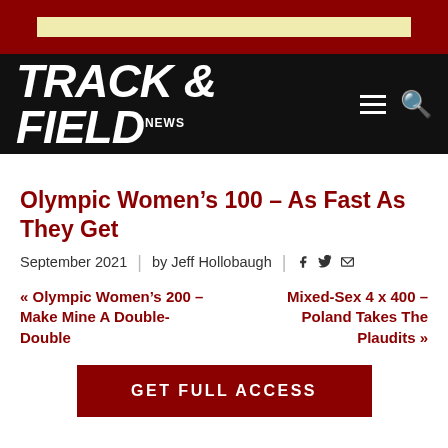[Figure (logo): Track & Field News logo in white italic bold text on black navigation bar, with hamburger menu and search icon]
Olympic Women's 100 – As Fast As They Get
September 2021  |  by Jeff Hollobaugh  |  [facebook] [twitter] [print]
« Olympic Women's 200 – Make Mine A Double-Double
Mixed-Sex 4 x 400 – Poland Takes The Plaudits »
GET FULL ACCESS